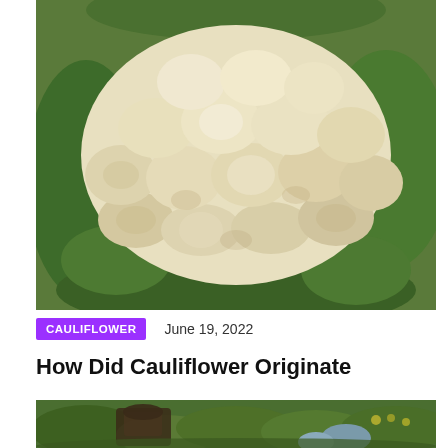[Figure (photo): Close-up photograph of a large white cauliflower head with green leaves visible around it]
CAULIFLOWER    June 19, 2022
How Did Cauliflower Originate
[Figure (photo): Garden scene with green plants, blue-green grass/plants and a dark wicker chair visible]